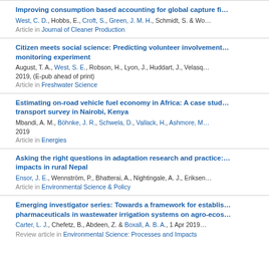Improving consumption based accounting for global capture fi...
West, C. D., Hobbs, E., Croft, S., Green, J. M. H., Schmidt, S. & Wo...
Article in Journal of Cleaner Production
Citizen meets social science: Predicting volunteer involvement... monitoring experiment
August, T. A., West, S. E., Robson, H., Lyon, J., Huddart, J., Velasq...
2019, (E-pub ahead of print)
Article in Freshwater Science
Estimating on-road vehicle fuel economy in Africa: A case stud... transport survey in Nairobi, Kenya
Mbandi, A. M., Böhnke, J. R., Schwela, D., Vallack, H., Ashmore, M....
2019
Article in Energies
Asking the right questions in adaptation research and practice:... impacts in rural Nepal
Ensor, J. E., Wennström, P., Bhatterai, A., Nightingale, A. J., Eriksen...
Article in Environmental Science & Policy
Emerging investigator series: Towards a framework for establis... pharmaceuticals in wastewater irrigation systems on agro-ecos...
Carter, L. J., Chefetz, B., Abdeen, Z. & Boxall, A. B. A., 1 Apr 2019
Review article in Environmental Science: Processes and Impacts